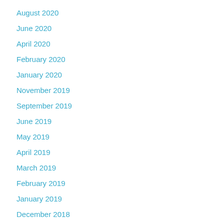August 2020
June 2020
April 2020
February 2020
January 2020
November 2019
September 2019
June 2019
May 2019
April 2019
March 2019
February 2019
January 2019
December 2018